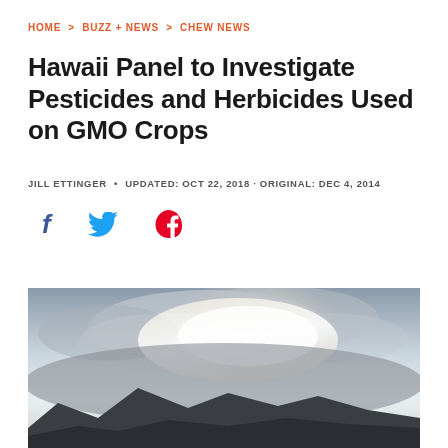HOME > BUZZ + NEWS > CHEW NEWS
Hawaii Panel to Investigate Pesticides and Herbicides Used on GMO Crops
JILL ETTINGER • UPDATED: OCT 22, 2018 · ORIGINAL: DEC 4, 2014
[Figure (infographic): Social sharing icons: Facebook (f), Twitter (bird), Pinterest (P) in blue, light blue, and red respectively]
[Figure (photo): Aerial or landscape photo of Hawaii mountains with misty/cloudy sky, light breaking through clouds over dark mountain ridgeline]